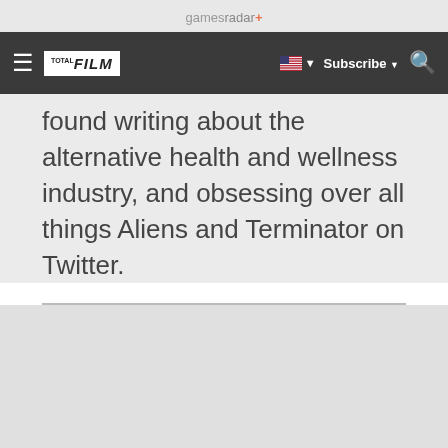gamesradar+
TOTAL FILM | Subscribe | Search
found writing about the alternative health and wellness industry, and obsessing over all things Aliens and Terminator on Twitter.